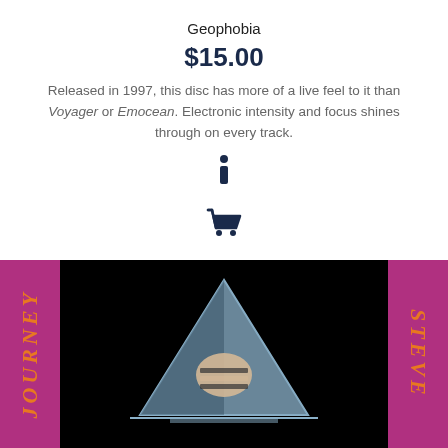Geophobia
$15.00
Released in 1997, this disc has more of a live feel to it than Voyager or Emocean. Electronic intensity and focus shines through on every track.
[Figure (illustration): Info icon (letter i in a circle), dark navy blue]
[Figure (illustration): Shopping cart icon, dark navy blue]
[Figure (photo): Album cover image: magenta/purple side panels with orange gothic lettering reading JOURNEY on left and STEVE on right (partially visible), center black panel showing a bluish pyramid with a hand/fist inside it holding layered book-like objects, horizontal line below pyramid]